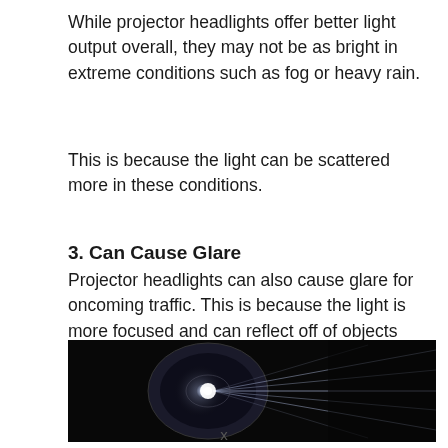While projector headlights offer better light output overall, they may not be as bright in extreme conditions such as fog or heavy rain.
This is because the light can be scattered more in these conditions.
3. Can Cause Glare
Projector headlights can also cause glare for oncoming traffic. This is because the light is more focused and can reflect off of objects more easily.
[Figure (photo): A close-up photograph of a bright projector headlight with light rays emanating against a dark background.]
x